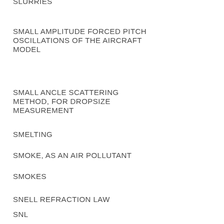SLURRIES
SMALL AMPLITUDE FORCED PITCH OSCILLATIONS OF THE AIRCRAFT MODEL
SMALL ANCLE SCATTERING METHOD, FOR DROPSIZE MEASUREMENT
SMELTING
SMOKE, AS AN AIR POLLUTANT
SMOKES
SNELL REFRACTION LAW
SNL